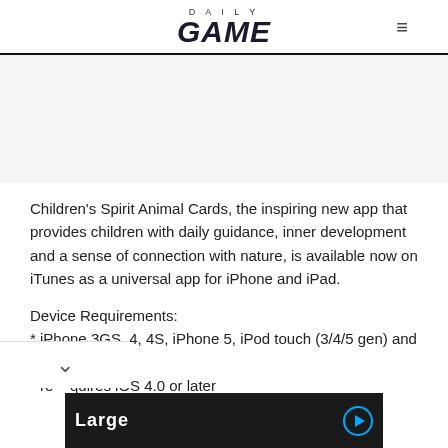DAILY GAME
Children's Spirit Animal Cards, the inspiring new app that provides children with daily guidance, inner development and a sense of connection with nature, is available now on iTunes as a universal app for iPhone and iPad.
Device Requirements:
* iPhone 3GS, 4, 4S, iPhone 5, iPod touch (3/4/5 gen) and iPad
* requires iOS 4.0 or later